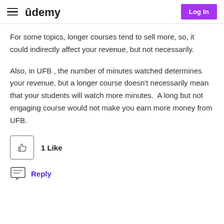Udemy | Log In
For some topics, longer courses tend to sell more, so, it could indirectly affect your revenue, but not necessarily.
Also, in UFB , the number of minutes watched determines your revenue, but a longer course doesn't necessarily mean that your students will watch more minutes.  A long but not engaging course would not make you earn more money from UFB.
1 Like
Reply